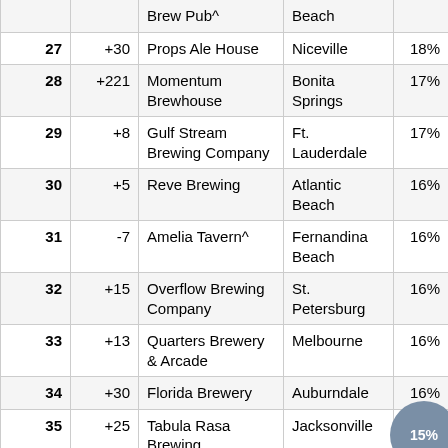| # | Change | Name | City | Score |
| --- | --- | --- | --- | --- |
|  |  | Brew Pub^ | Beach |  |
| 27 | +30 | Props Ale House | Niceville | 18% |
| 28 | +221 | Momentum Brewhouse | Bonita Springs | 17% |
| 29 | +8 | Gulf Stream Brewing Company | Ft. Lauderdale | 17% |
| 30 | +5 | Reve Brewing | Atlantic Beach | 16% |
| 31 | -7 | Amelia Tavern^ | Fernandina Beach | 16% |
| 32 | +15 | Overflow Brewing Company | St. Petersburg | 16% |
| 33 | +13 | Quarters Brewery & Arcade | Melbourne | 16% |
| 34 | +30 | Florida Brewery | Auburndale | 16% |
| 35 | +25 | Tabula Rasa Brewing | Jacksonville | 15% |
| 36 | +7 | Fishweir | Jacksonville | 15% |